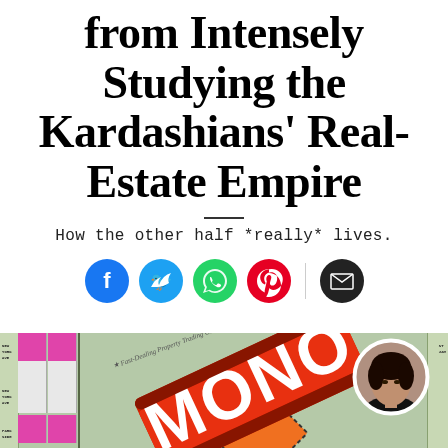from Intensely Studying the Kardashians' Real-Estate Empire
How the other half *really* lives.
[Figure (illustration): Social media share icons: Facebook (blue), Twitter (blue), WhatsApp (green), Pinterest (red), vertical divider, Email (black)]
[Figure (photo): Monopoly board game box cover partially visible showing 'MONO' text in red/orange diagonal banner, green board background with property spaces visible on left side including pink/magenta colored properties, orange diamond shape visible, circular portrait photo of dark-haired woman on right]